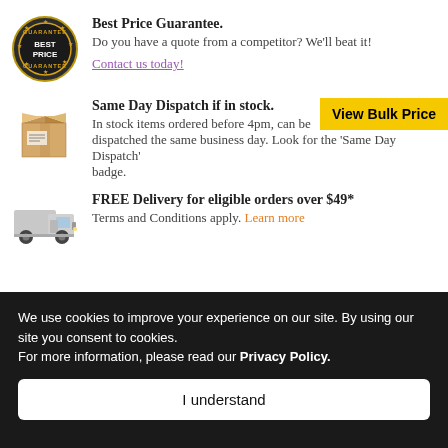[Figure (logo): Best Price Guarantee circular badge/seal with gold border and stars]
Best Price Guarantee. Do you have a quote from a competitor? We'll beat it! Contact us today!
[Figure (illustration): Cardboard box/package illustration]
Same Day Dispatch if in stock. In stock items ordered before 4pm, can be dispatched the same business day. Look for the 'Same Day Dispatch' badge.
[Figure (illustration): View Bulk Price yellow button overlay]
[Figure (illustration): Delivery truck illustration]
FREE Delivery for eligible orders over $49* Terms and Conditions apply. Learn more
Dual Pocket Cardholder - Landscape
We use cookies to improve your experience on our site. By using our site you consent to cookies. For more information, please read our Privacy Policy.
I understand